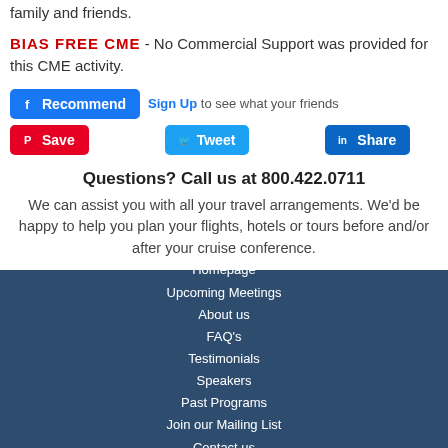family and friends.
BIAS FREE CME - No Commercial Support was provided for this CME activity.
[Figure (infographic): Social media sharing buttons: Facebook Recommend, Sign Up link, Pinterest Save, Twitter Tweet, LinkedIn Share]
Questions? Call us at 800.422.0711
We can assist you with all your travel arrangements. We'd be happy to help you plan your flights, hotels or tours before and/or after your cruise conference.
Homepage | Upcoming Meetings | About us | FAQ's | Testimonials | Speakers | Past Programs | Join our Mailing List | Contact us